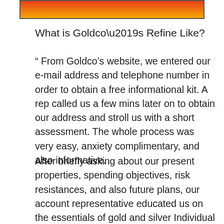[Figure (other): Orange-to-yellow gradient banner/logo bar at the top of the page]
What is Goldco’s Refine Like?
“ From Goldco’s website, we entered our e-mail address and telephone number in order to obtain a free informational kit. A rep called us a few mins later on to obtain our address and stroll us with a short assessment. The whole process was very easy, anxiety complimentary, and also informative.
After briefly asking about our present properties, spending objectives, risk resistances, and also future plans, our account representative educated us on the essentials of gold and silver Individual retirement accounts.